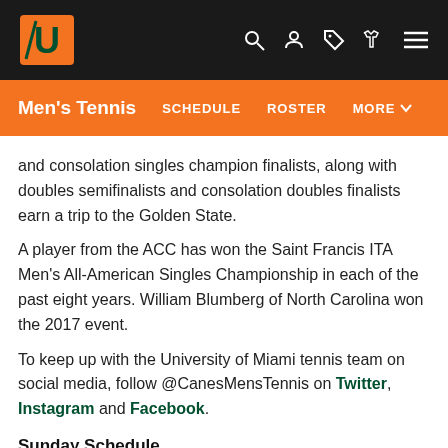Men's Tennis  SCHEDULE  ROSTER  MORE
and consolation singles champion finalists, along with doubles semifinalists and consolation doubles finalists earn a trip to the Golden State.
A player from the ACC has won the Saint Francis ITA Men's All-American Singles Championship in each of the past eight years. William Blumberg of North Carolina won the 2017 event.
To keep up with the University of Miami tennis team on social media, follow @CanesMensTennis on Twitter, Instagram and Facebook.
Sunday Schedule
Round of 64
12 p.m. ET – Stephen Madonia vs. Paul Barretto (CA)